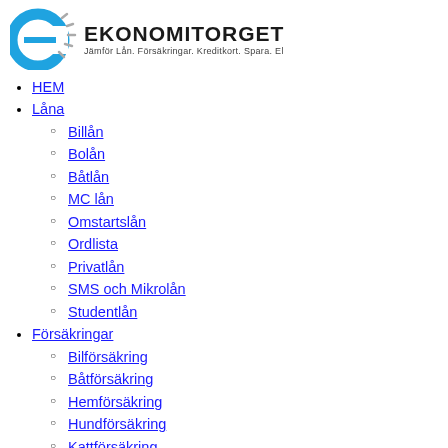[Figure (logo): Ekonomitorget logo: a circular blue 'e' icon with grey dashes, next to the text EKONOMITORGET and subtitle Jämför Lån. Försäkringar. Kreditkort. Spara. El]
HEM
Låna
Billån
Bolån
Båtlån
MC lån
Omstartslån
Ordlista
Privatlån
SMS och Mikrolån
Studentlån
Försäkringar
Bilförsäkring
Båtförsäkring
Hemförsäkring
Hundförsäkring
Kattförsäkring
MC Försäkring
Kreditkort
Spara
Informasjon om lån